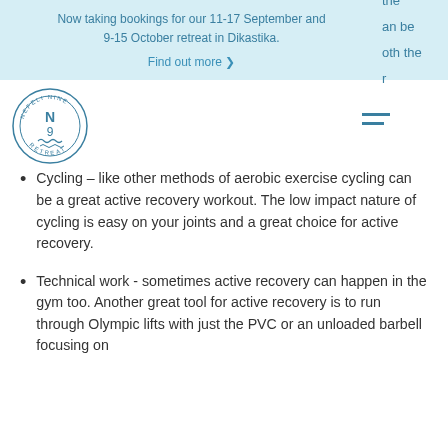Now taking bookings for our 11-17 September and 9-15 October retreat in Dikastika. Find out more ❯
[Figure (logo): Nefeli Nine Retreat circular logo with N and 9 in the center and wave motif]
Cycling – like other methods of aerobic exercise cycling can be a great active recovery workout. The low impact nature of cycling is easy on your joints and a great choice for active recovery.
Technical work - sometimes active recovery can happen in the gym too. Another great tool for active recovery is to run through Olympic lifts with just the PVC or an unloaded barbell focusing on